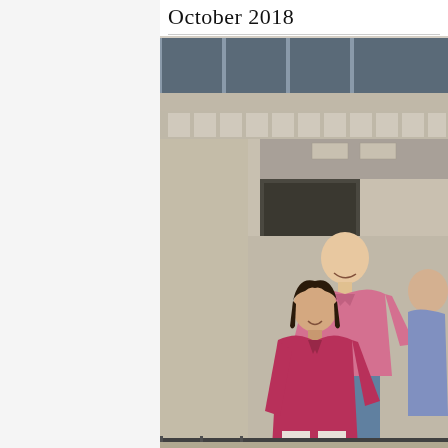October 2018
[Figure (photo): Group photo of three people (two men and a woman) standing in front of a concrete university building exterior. The woman in the center is wearing a magenta/pink blouse, the man behind her is wearing a pink polo shirt, and a third person is partially visible on the right. The building features large windows and concrete columns.]